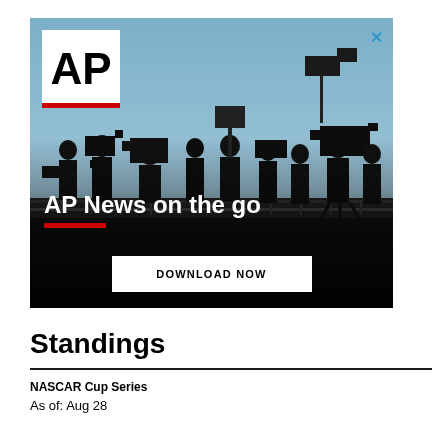[Figure (photo): AP News advertisement banner showing silhouettes of camera operators and media personnel against a blue sky background. Contains AP logo in white box with red bar, headline 'AP News on the go' in white text with red underline, and a 'DOWNLOAD NOW' button. Has an X close button in the top right corner.]
Standings
NASCAR Cup Series
As of: Aug 28